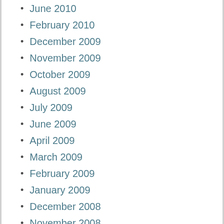June 2010
February 2010
December 2009
November 2009
October 2009
August 2009
July 2009
June 2009
April 2009
March 2009
February 2009
January 2009
December 2008
November 2008
October 2008
September 2008
August 2008
July 2008
June 2008